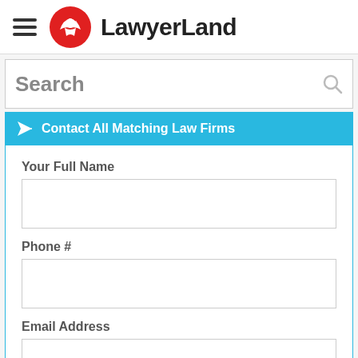LawyerLand
Search
Contact All Matching Law Firms
Your Full Name
Phone #
Email Address